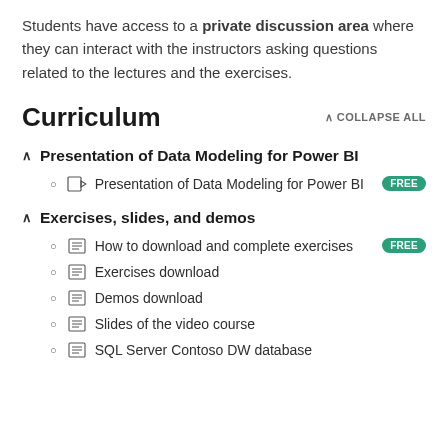Students have access to a private discussion area where they can interact with the instructors asking questions related to the lectures and the exercises.
Curriculum
Presentation of Data Modeling for Power BI
Presentation of Data Modeling for Power BI FREE
Exercises, slides, and demos
How to download and complete exercises FREE
Exercises download
Demos download
Slides of the video course
SQL Server Contoso DW database